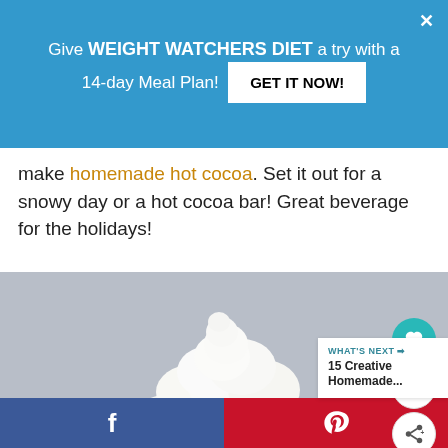[Figure (screenshot): Blue promotional banner: 'Give WEIGHT WATCHERS DIET a try with a 14-day Meal Plan! GET IT NOW!' with a close X button]
make homemade hot cocoa. Set it out for a snowy day or a hot cocoa bar! Great beverage for the holidays!
[Figure (photo): Photo of a glass mug filled with hot cocoa topped with a large mound of whipped cream, on a gray background. Social action buttons: heart (teal), count 12, share. 'WHAT'S NEXT → 15 Creative Homemade...' preview box in bottom right.]
[Figure (screenshot): Bottom social sharing bar: Facebook (blue, f icon) on left half, Pinterest (red, P icon) on right half]